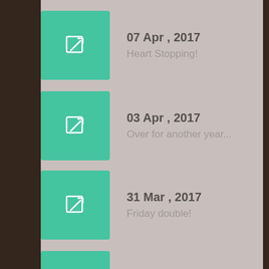07 Apr , 2017
Heart Stopping!
03 Apr , 2017
Over for another year...
31 Mar , 2017
Friday double!
27 Mar , 2017
Wins galore!
21 Mar , 2017
Synchrony clicks at Fair Grounds!